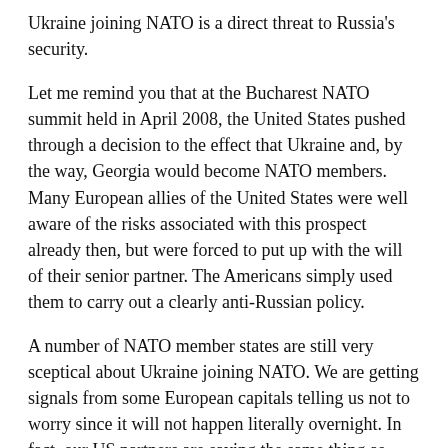Ukraine joining NATO is a direct threat to Russia's security.
Let me remind you that at the Bucharest NATO summit held in April 2008, the United States pushed through a decision to the effect that Ukraine and, by the way, Georgia would become NATO members. Many European allies of the United States were well aware of the risks associated with this prospect already then, but were forced to put up with the will of their senior partner. The Americans simply used them to carry out a clearly anti-Russian policy.
A number of NATO member states are still very sceptical about Ukraine joining NATO. We are getting signals from some European capitals telling us not to worry since it will not happen literally overnight. In fact, our US partners are saying the same thing as well. “All right, then” we respond, “if it does not happen tomorrow, then it will happen the day after tomorrow. What does it change from the historical perspective? Nothing at all.”